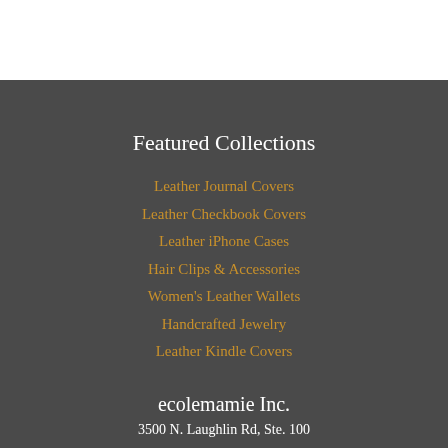Featured Collections
Leather Journal Covers
Leather Checkbook Covers
Leather iPhone Cases
Hair Clips & Accessories
Women's Leather Wallets
Handcrafted Jewelry
Leather Kindle Covers
ecolemamie Inc.
3500 N. Laughlin Rd, Ste. 100